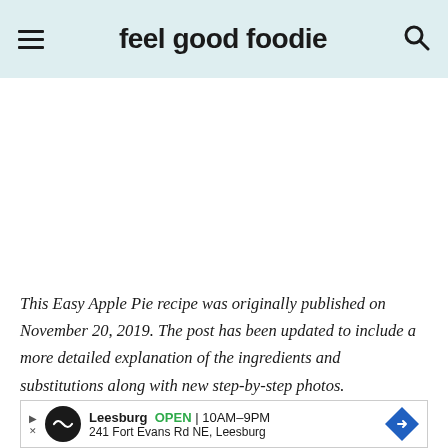feel good foodie
[Figure (photo): Large white/blank area representing a food photo area (image not loaded)]
This Easy Apple Pie recipe was originally published on November 20, 2019. The post has been updated to include a more detailed explanation of the ingredients and substitutions along with new step-by-step photos.
[Figure (screenshot): Advertisement banner: Leesburg store, OPEN 10AM-9PM, 241 Fort Evans Rd NE, Leesburg]